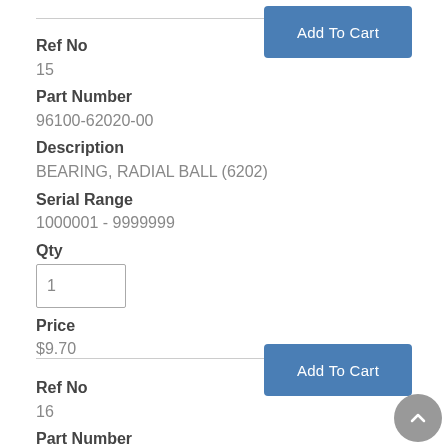Add To Cart
Ref No
15
Part Number
96100-62020-00
Description
BEARING, RADIAL BALL (6202)
Serial Range
1000001 - 9999999
Qty
Price
$9.70
Add To Cart
Ref No
16
Part Number
75480-756-007